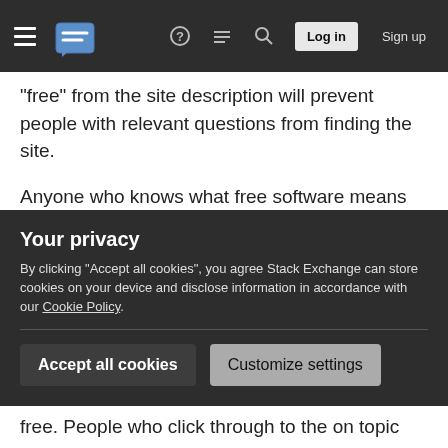Stack Exchange navigation bar with hamburger menu, logo, help, chat, search, Log in, Sign up
"free" from the site description will prevent people with relevant questions from finding the site.
Anyone who knows what free software means will also know what open source software means. My guess is that the only people who will be put off using the site by the absence of the word "free" in the description are people who are looking for an argument rather than looking to ask a question. I would expect everyone who has an on topic question to find our site without the need for labeling it free.
Your privacy
By clicking "Accept all cookies", you agree Stack Exchange can store cookies on your device and disclose information in accordance with our Cookie Policy.
Accept all cookies   Customize settings
free. People who click through to the on topic page